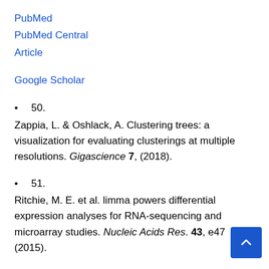PubMed
PubMed Central
Article
Google Scholar
50. Zappia, L. & Oshlack, A. Clustering trees: a visualization for evaluating clusterings at multiple resolutions. Gigascience 7, (2018).
51. Ritchie, M. E. et al. limma powers differential expression analyses for RNA-sequencing and microarray studies. Nucleic Acids Res. 43, e47 (2015).
PubMed